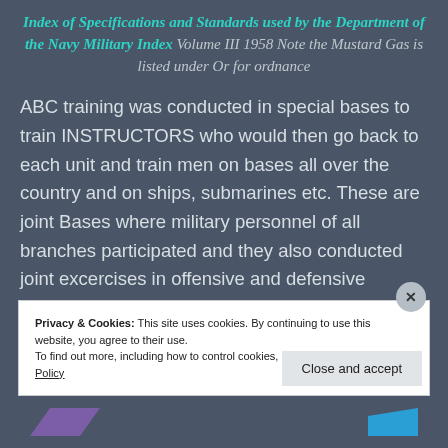Index of Specifications and Standards used by the Department of the Navy Military Index Volume III 1958 Note the Mustard Gas is listed under Or for ordnance
ABC training was conducted in special bases to train INSTRUCTORS who would then go back to each unit and train men on bases all over the country and on ships, submarines etc. These are joint Bases where military personnel of all branches participated and they also conducted joint excercises in offensive and defensive
Privacy & Cookies: This site uses cookies. By continuing to use this website, you agree to their use. To find out more, including how to control cookies, see here: Cookie Policy